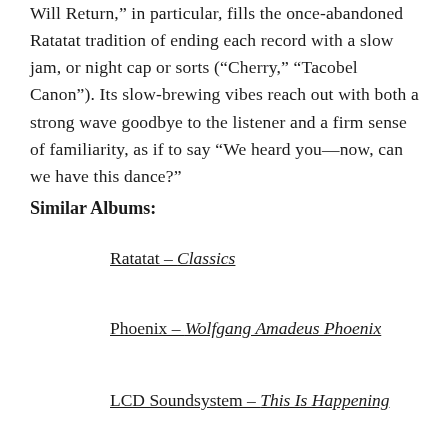Will Return," in particular, fills the once-abandoned Ratatat tradition of ending each record with a slow jam, or night cap or sorts ("Cherry," "Tacobel Canon"). Its slow-brewing vibes reach out with both a strong wave goodbye to the listener and a firm sense of familiarity, as if to say "We heard you—now, can we have this dance?"
Similar Albums:
Ratatat – Classics
Phoenix – Wolfgang Amadeus Phoenix
LCD Soundsystem – This Is Happening